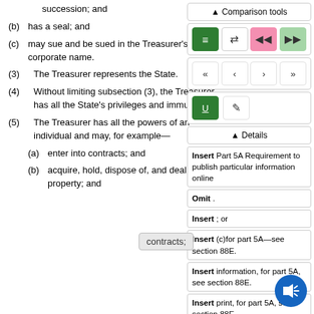succession; and
(b) has a seal; and
(c) may sue and be sued in the Treasurer's corporate name.
(3) The Treasurer represents the State.
(4) Without limiting subsection (3), the Treasurer has all the State's privileges and immunities.
(5) The Treasurer has all the powers of an individual and may, for example—
(a) enter into contracts; and
(b) acquire, hold, dispose of, and deal with, property; and
[Figure (screenshot): Comparison tools UI panel with navigation buttons (list, swap, prev, next, first, back, forward, last), underline and pencil tools, Details section, and annotation boxes listing Insert/Omit instructions for Part 5A legislative changes.]